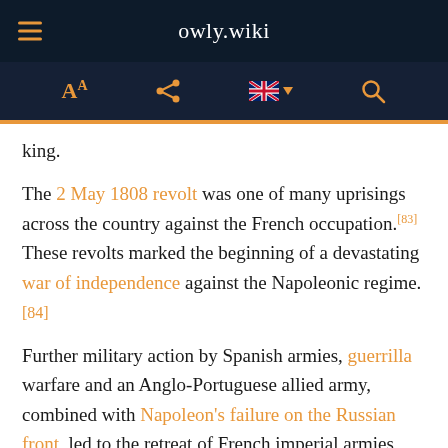owly.wiki
king.
The 2 May 1808 revolt was one of many uprisings across the country against the French occupation.[83] These revolts marked the beginning of a devastating war of independence against the Napoleonic regime.[84]
Further military action by Spanish armies, guerrilla warfare and an Anglo-Portuguese allied army, combined with Napoleon's failure on the Russian front, led to the retreat of French imperial armies from the Iberian Peninsula in 1814, and the restoration of [text continues]